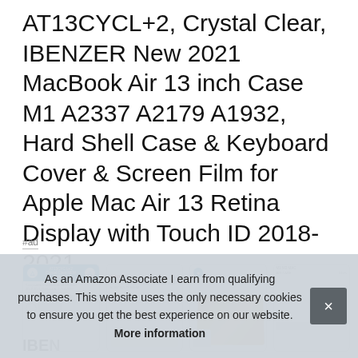AT13CYCL+2, Crystal Clear, IBENZER New 2021 MacBook Air 13 inch Case M1 A2337 A2179 A1932, Hard Shell Case & Keyboard Cover & Screen Film for Apple Mac Air 13 Retina Display with Touch ID 2018-2021
#ad
[Figure (screenshot): Row of four product thumbnail images for MacBook Air case product listing]
As an Amazon Associate I earn from qualifying purchases. This website uses the only necessary cookies to ensure you get the best experience on our website. More information
IBE